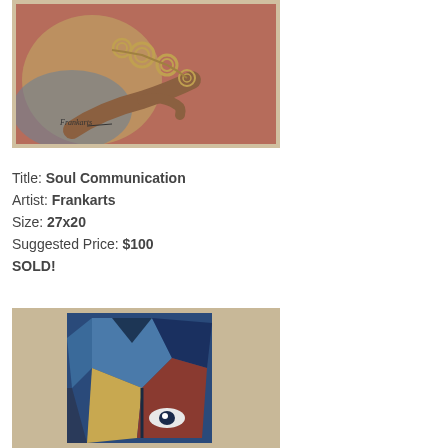[Figure (photo): Painting showing hands and ornate spiral necklace/jewelry against a colorful background of reds, blues, greens and yellows. Artist signature 'Frankarts' visible in lower left of painting.]
Title: Soul Communication
Artist: Frankarts
Size: 27x20
Suggested Price: $100
SOLD!
[Figure (photo): Painting showing an abstract or cubist-style face/figure in blues, blacks, yellows, and reds, photographed on a beige carpet background.]